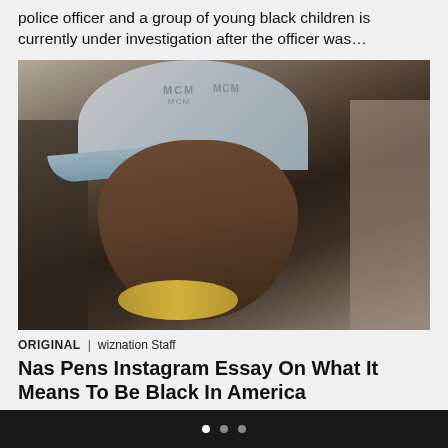police officer and a group of young black children is currently under investigation after the officer was…
[Figure (photo): Portrait photo of Nas wearing a light grey MCM branded baseball cap and gold chain necklace, looking seriously at the camera against a blurred background.]
ORIGINAL | wiznation Staff
Nas Pens Instagram Essay On What It Means To Be Black In America
Nas has chosen not to stay silent when it comes to the recent events in Charleston, South Carolina. The Queens rapper